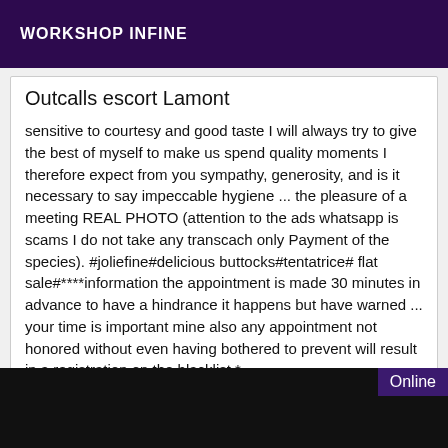WORKSHOP INFINE
Outcalls escort Lamont
sensitive to courtesy and good taste I will always try to give the best of myself to make us spend quality moments I therefore expect from you sympathy, generosity, and is it necessary to say impeccable hygiene ... the pleasure of a meeting REAL PHOTO (attention to the ads whatsapp is scams I do not take any transcach only Payment of the species). #joliefine#delicious buttocks#tentatrice# flat sale#****information the appointment is made 30 minutes in advance to have a hindrance it happens but have warned ... your time is important mine also any appointment not honored without even having bothered to prevent will result in a registration on the blacklist *
[Figure (photo): Dark/black image strip at the bottom with an 'Online' badge in purple on the right side]